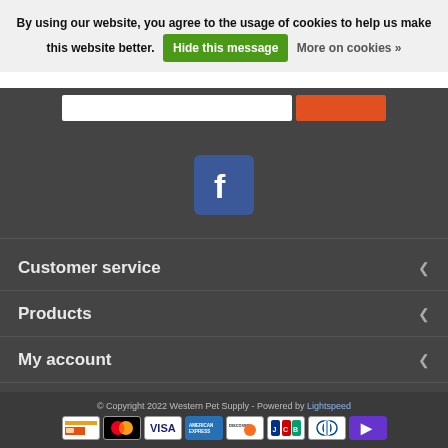By using our website, you agree to the usage of cookies to help us make this website better. Hide this message More on cookies »
[Figure (logo): Facebook icon - white F on blue background]
Customer service
Products
My account
Western Pet Supply
© Copyright 2022 Western Pet Supply - Powered by Lightspeed